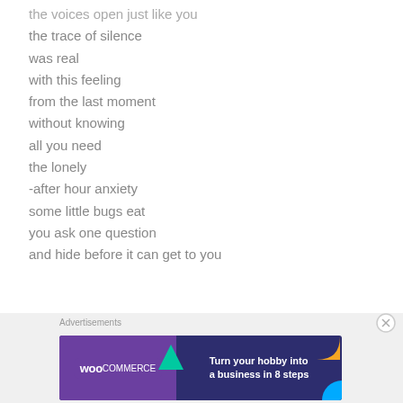the voices open just like you
the trace of silence
was real
with this feeling
from the last moment
without knowing
all you need
the lonely
-after hour anxiety
some little bugs eat
you ask one question
and hide before it can get to you
[Figure (screenshot): WooCommerce advertisement banner: 'Turn your hobby into a business in 8 steps']